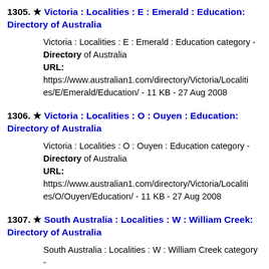1305. ★ Victoria : Localities : E : Emerald : Education: Directory of Australia
Victoria : Localities : E : Emerald : Education category - Directory of Australia
URL:
https://www.australian1.com/directory/Victoria/Localities/E/Emerald/Education/ - 11 KB - 27 Aug 2008
1306. ★ Victoria : Localities : O : Ouyen : Education: Directory of Australia
Victoria : Localities : O : Ouyen : Education category - Directory of Australia
URL:
https://www.australian1.com/directory/Victoria/Localities/es/O/Ouyen/Education/ - 11 KB - 27 Aug 2008
1307. ★ South Australia : Localities : W : William Creek: Directory of Australia
South Australia : Localities : W : William Creek category - Directory of Australia